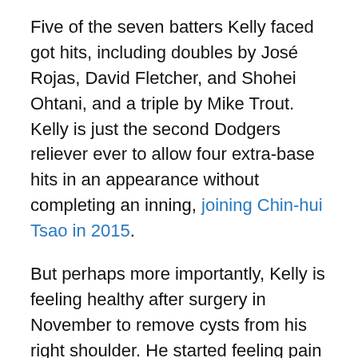Five of the seven batters Kelly faced got hits, including doubles by José Rojas, David Fletcher, and Shohei Ohtani, and a triple by Mike Trout. Kelly is just the second Dodgers reliever ever to allow four extra-base hits in an appearance without completing an inning, joining Chin-hui Tsao in 2015.
But perhaps more importantly, Kelly is feeling healthy after surgery in November to remove cysts from his right shoulder. He started feeling pain in August, but opted to pitch through it through the postseason, which at times required more down time between appearances.
“I was going to wait until after the season, just using grit and, you know, bit down and not be a little baby,” Kelly said Friday. “It wasn’t fun. There were times I